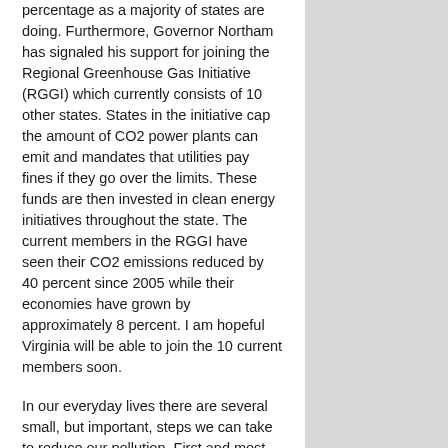percentage as a majority of states are doing. Furthermore, Governor Northam has signaled his support for joining the Regional Greenhouse Gas Initiative (RGGI) which currently consists of 10 other states. States in the initiative cap the amount of CO2 power plants can emit and mandates that utilities pay fines if they go over the limits. These funds are then invested in clean energy initiatives throughout the state. The current members in the RGGI have seen their CO2 emissions reduced by 40 percent since 2005 while their economies have grown by approximately 8 percent. I am hopeful Virginia will be able to join the 10 current members soon.
In our everyday lives there are several small, but important, steps we can take to reduce our pollution. First and most obviously, always make sure you properly recycle everything you can. Next, try to limit your use of single use items such as plastics. Plastic bags will end up in landfills or in the ocean. Try to buy